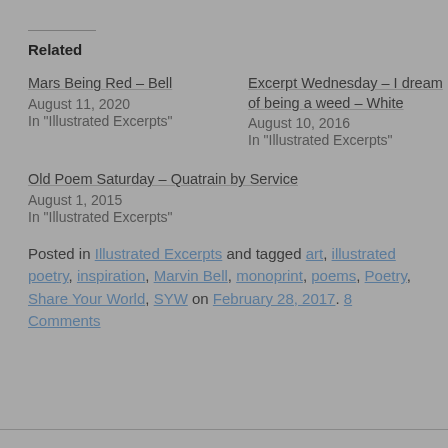Related
Mars Being Red – Bell
August 11, 2020
In "Illustrated Excerpts"
Excerpt Wednesday – I dream of being a weed – White
August 10, 2016
In "Illustrated Excerpts"
Old Poem Saturday – Quatrain by Service
August 1, 2015
In "Illustrated Excerpts"
Posted in Illustrated Excerpts and tagged art, illustrated poetry, inspiration, Marvin Bell, monoprint, poems, Poetry, Share Your World, SYW on February 28, 2017. 8 Comments